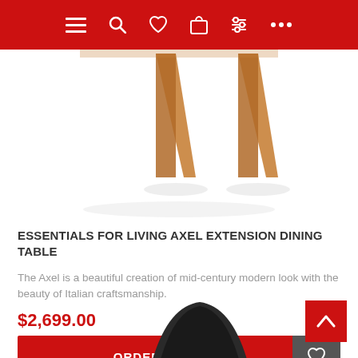Navigation bar with menu, search, wishlist, cart, filter, more icons
[Figure (photo): Product photo: Essentials for Living Axel Extension Dining Table legs visible against white background, walnut wood finish]
ESSENTIALS FOR LIVING AXEL EXTENSION DINING TABLE
The Axel is a beautiful creation of mid-century modern look with the beauty of Italian craftsmanship.
$2,699.00
ORDER NOW
[Figure (photo): Partial view of next product: dark/black curved chair back visible at bottom of screen]